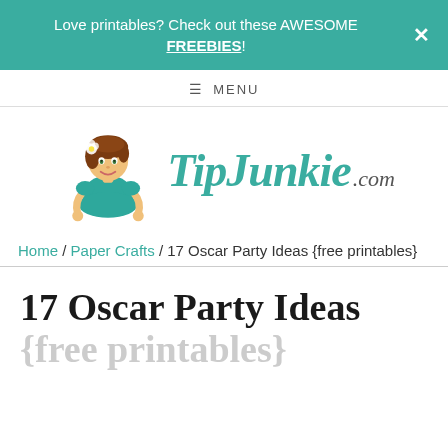Love printables? Check out these AWESOME FREEBIES!
≡ MENU
[Figure (logo): TipJunkie.com logo with cartoon mascot woman in teal dress and brown hair with flower, next to TipJunkie.com text in teal italic script]
Home / Paper Crafts / 17 Oscar Party Ideas {free printables}
17 Oscar Party Ideas {free printables}